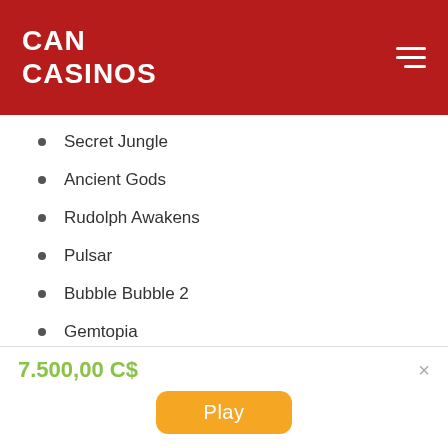CAN CASINOS
Secret Jungle
Ancient Gods
Rudolph Awakens
Pulsar
Bubble Bubble 2
Gemtopia
Sweet 16
7.500,00 C$
Play